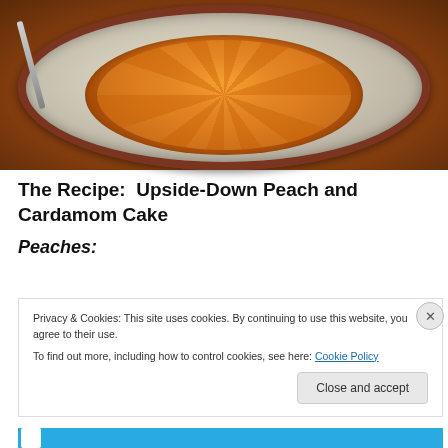[Figure (photo): Overhead photo of an upside-down peach cake arranged in a circular pattern on a ceramic plate with a fork, displayed on a dark-rimmed dish]
The Recipe:  Upside-Down Peach and Cardamom Cake
Peaches:
Privacy & Cookies: This site uses cookies. By continuing to use this website, you agree to their use.
To find out more, including how to control cookies, see here: Cookie Policy
Close and accept